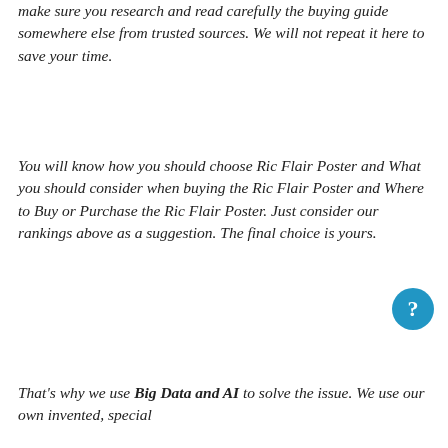make sure you research and read carefully the buying guide somewhere else from trusted sources. We will not repeat it here to save your time.
You will know how you should choose Ric Flair Poster and What you should consider when buying the Ric Flair Poster and Where to Buy or Purchase the Ric Flair Poster. Just consider our rankings above as a suggestion. The final choice is yours.
That's why we use Big Data and AI to solve the issue. We use our own invented, special